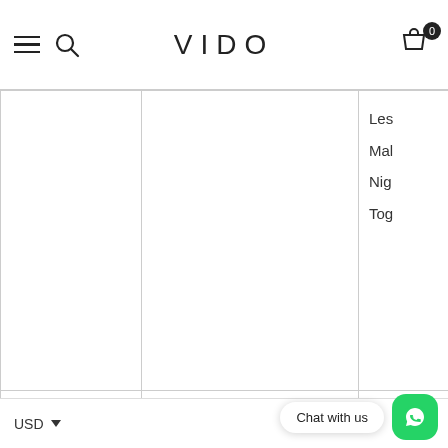VIDO
| Region | Zone | Countries |
| --- | --- | --- |
|  |  | Les
Mal
Nig
Tog |
| Oceania & Pacific | Australia, New Zealand | Aus |
|  | Other Oceania & Pacific Countries | Coo
Kiri
Gu |
USD